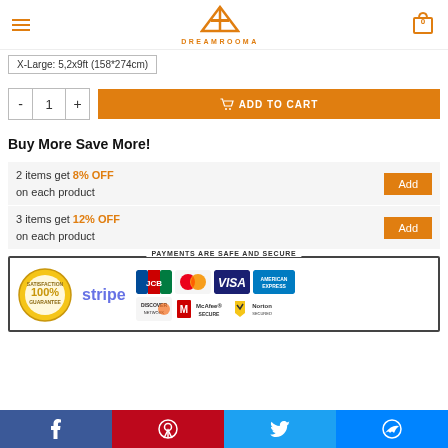DREAMROOMA
X-Large: 5,2x9ft (158*274cm)
- 1 + ADD TO CART
Buy More Save More!
2 items get 8% OFF on each product
3 items get 12% OFF on each product
[Figure (other): Payments Are Safe and Secure section with satisfaction guarantee badge, Stripe, JCB, MasterCard, Visa, American Express, Discover Network, McAfee Secure, Norton Secured logos]
Facebook Pinterest Twitter Messenger social share buttons